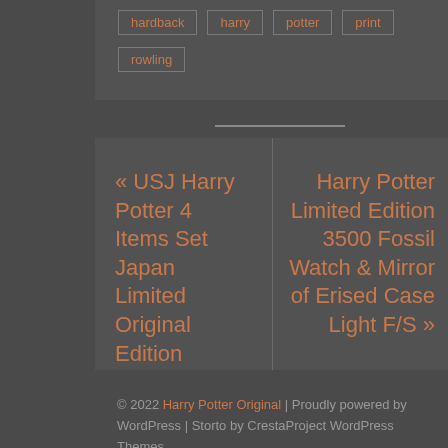hardback
harry
potter
print
rowling
« USJ Harry Potter 4 Items Set Japan Limited Original Edition
Harry Potter Limited Edition 3500 Fossil Watch & Mirror of Erised Case Light F/S »
© 2022 Harry Potter Original | Proudly powered by WordPress | Storto by CrestaProject WordPress Themes.